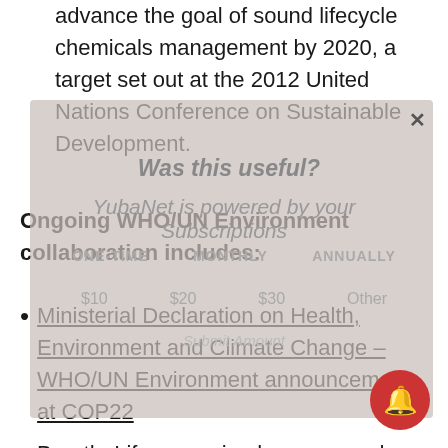advance the goal of sound lifecycle chemicals management by 2020, a target set out at the 2012 United Nations Conference on Sustainable Development.
Ongoing WHO/UN Environment collaboration includes:
Ministerial Declaration on Health, Environment and Climate Change –WHO/UN Environment announcement at COP22
BreatheLife campaign has engaged countries, regions and cities in commitments to reduce air pollution for climate and health benefits, covering more than 120 million people across